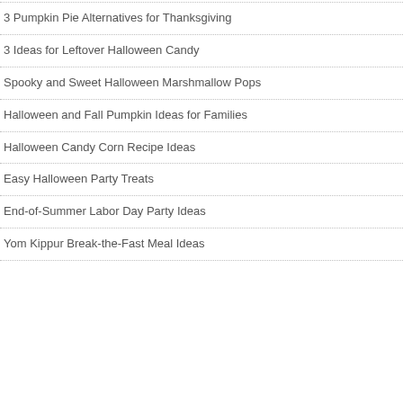3 Pumpkin Pie Alternatives for Thanksgiving
3 Ideas for Leftover Halloween Candy
Spooky and Sweet Halloween Marshmallow Pops
Halloween and Fall Pumpkin Ideas for Families
Halloween Candy Corn Recipe Ideas
Easy Halloween Party Treats
End-of-Summer Labor Day Party Ideas
Yom Kippur Break-the-Fast Meal Ideas